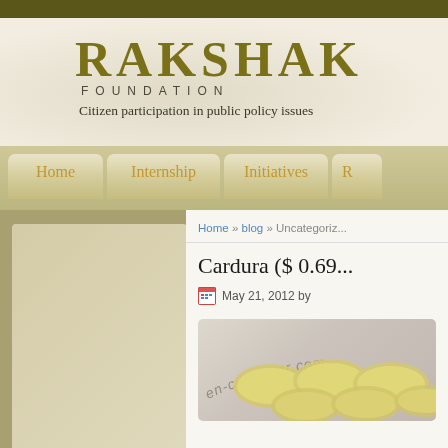RAKSHAK FOUNDATION
Citizen participation in public policy issues
[Figure (screenshot): Navigation bar with menu items: Home, Internship, Initiatives, R... (truncated)]
Home » blog » Uncategoriz...
Cardura ($ 0.69...
May 21, 2012 by
[Figure (photo): Blister pack of yellow round pills with watermark text reading en-customer.com]